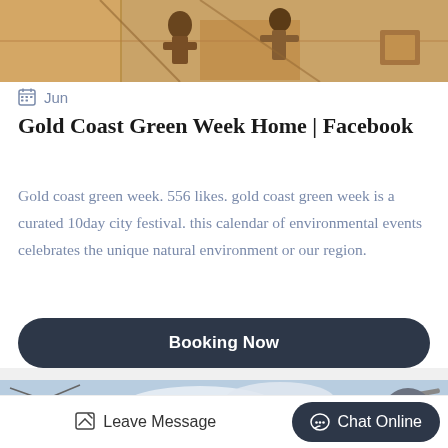[Figure (photo): Top strip photo showing people working near stonewalls/construction site with warm golden tones]
Jun
Gold Coast Green Week Home | Facebook
Gold coast green week. 556 likes. gold coast green week is a curated 10day city festival. this calendar of environmental events celebrates the unique natural environment or our region.
Booking Now
[Figure (photo): Bottom photo showing construction equipment/cherry picker against a blue sky with clouds]
Leave Message
Chat Online